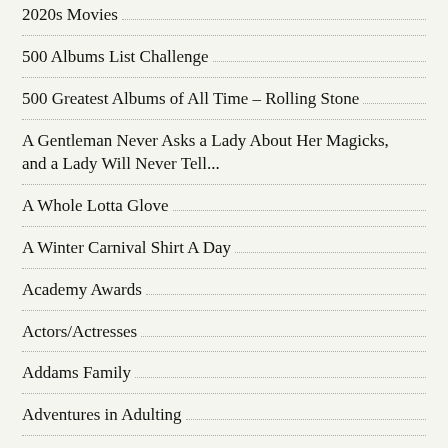2020s Movies
500 Albums List Challenge
500 Greatest Albums of All Time – Rolling Stone
A Gentleman Never Asks a Lady About Her Magicks, and a Lady Will Never Tell...
A Whole Lotta Glove
A Winter Carnival Shirt A Day
Academy Awards
Actors/Actresses
Addams Family
Adventures in Adulting
Adventures in Babysitting